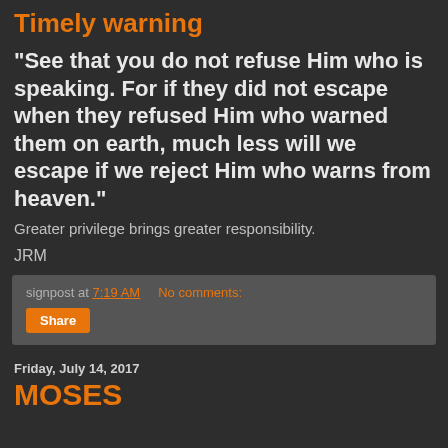Timely warning
"See that you do not refuse Him who is speaking. For if they did not escape when they refused Him who warned them on earth, much less will we escape if we reject Him who warns from heaven."
Greater privilege brings greater responsibility.
JRM
signpost at 7:19 AM   No comments:
Share
Friday, July 14, 2017
MOSES